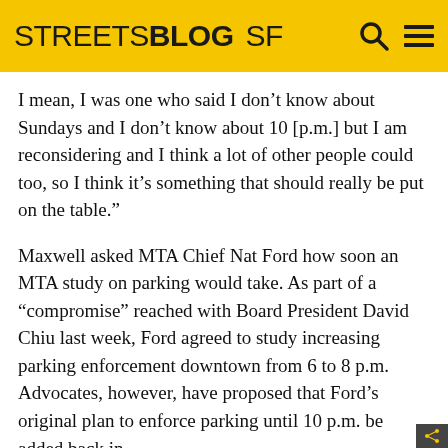STREETSBLOG SF
I mean, I was one who said I don’t know about Sundays and I don’t know about 10 [p.m.] but I am reconsidering and I think a lot of other people could too, so I think it’s something that should really be put on the table.”
Maxwell asked MTA Chief Nat Ford how soon an MTA study on parking would take. As part of a “compromise” reached with Board President David Chiu last week, Ford agreed to study increasing parking enforcement downtown from 6 to 8 p.m. Advocates, however, have proposed that Ford’s original plan to enforce parking until 10 p.m. be added back in.